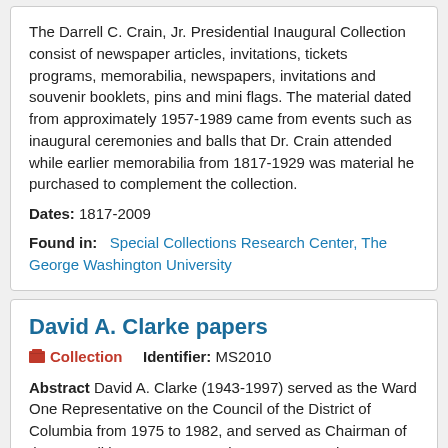The Darrell C. Crain, Jr. Presidential Inaugural Collection consist of newspaper articles, invitations, tickets programs, memorabilia, newspapers, invitations and souvenir booklets, pins and mini flags. The material dated from approximately 1957-1989 came from events such as inaugural ceremonies and balls that Dr. Crain attended while earlier memorabilia from 1817-1929 was material he purchased to complement the collection.
Dates: 1817-2009
Found in: Special Collections Research Center, The George Washington University
David A. Clarke papers
Collection   Identifier: MS2010
Abstract David A. Clarke (1943-1997) served as the Ward One Representative on the Council of the District of Columbia from 1975 to 1982, and served as Chairman of the Council between 1983 and 1991. In 1993, he was elected to complete the term of the late